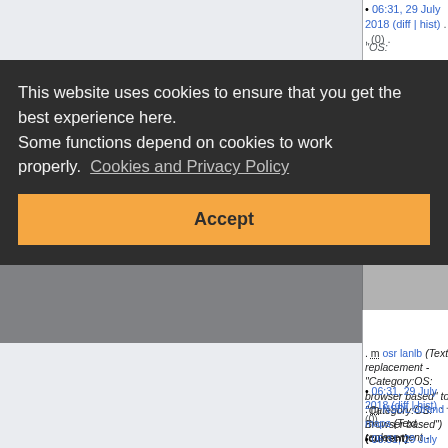06:31, 29 July 2018 (diff | hist) . . (0) . "OS: ... ser ...
This website uses cookies to ensure that you get the best experience here. Some functions depend on cookies to work properly. Cookies and Privacy Policy
Accept
m osr lanlb (Text replacement - "Category:OS: browser based" to "Category:OS: Browser based") (current)
06:31, 29 July 2018 (diff | hist) . . (0) . . m NSDL Strand maps (Text replacement - "OS: browser based" to "OS: Browser based") (current)
06:31, 29 July 2018 (diff | hist) . . (0) . . m MindMeister (Text replacement -